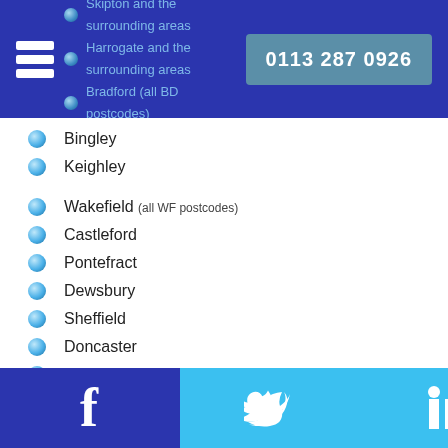Skipton and the surrounding areas | Harrogate and the surrounding areas | Bradford (all BD postcodes) | 0113 287 0926
Bingley
Keighley
Wakefield (all WF postcodes)
Castleford
Pontefract
Dewsbury
Sheffield
Doncaster
Halifax
Huddersfield
As we understand that physiotherapy for children needs to be both at a convenient time and location, we can provide this service within one of our clinics or as a mobile service from the child's home, or at their school, at times that suit both child and parents / carers.
f | Twitter | in | Instagram